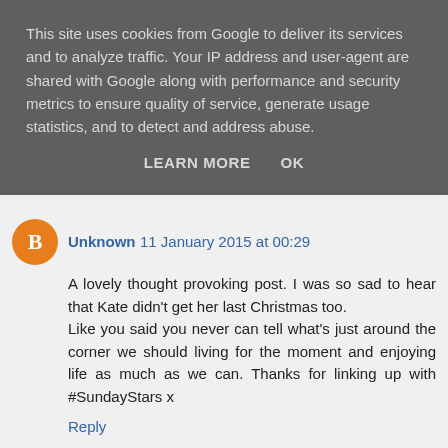This site uses cookies from Google to deliver its services and to analyze traffic. Your IP address and user-agent are shared with Google along with performance and security metrics to ensure quality of service, generate usage statistics, and to detect and address abuse.
LEARN MORE   OK
Unknown  11 January 2015 at 00:29
A lovely thought provoking post. I was so sad to hear that Kate didn't get her last Christmas too. Like you said you never can tell what's just around the corner we should living for the moment and enjoying life as much as we can. Thanks for linking up with #SundayStars x
Reply
Replies
mamaowl  12 January 2015 at 12:13